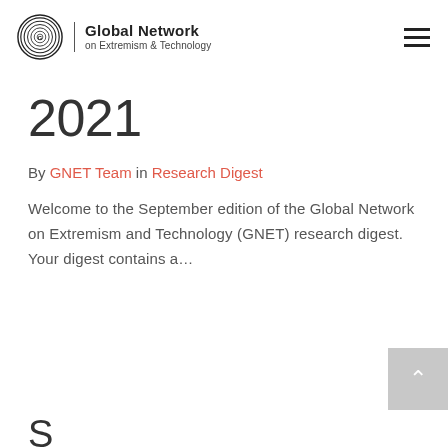Global Network on Extremism & Technology
2021
By GNET Team in Research Digest
Welcome to the September edition of the Global Network on Extremism and Technology (GNET) research digest. Your digest contains a...